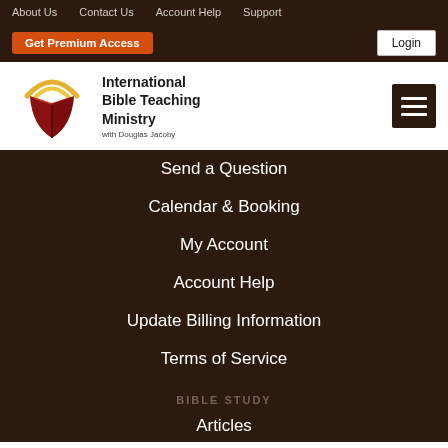About Us   Contact Us   Account Help   Support
Get Premium Access
Login
[Figure (logo): International Bible Teaching Ministry logo with open book and golden arc]
International Bible Teaching Ministry with Douglas Jacoby
Send a Question
Calendar & Booking
My Account
Account Help
Update Billing Information
Terms of Service
BIBLE STUDY
Articles